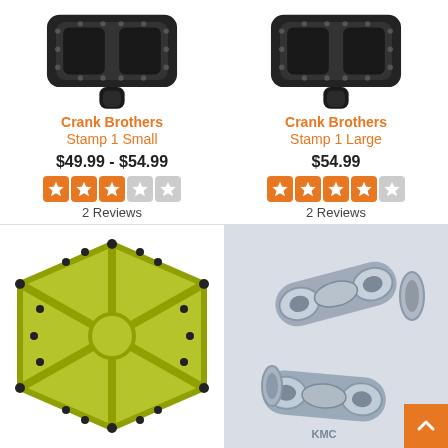[Figure (photo): Crank Brothers Stamp 1 Small bicycle pedal in black, viewed from above at an angle]
Crank Brothers
Stamp 1 Small
$49.99 - $54.99
2 Reviews
[Figure (photo): Crank Brothers Stamp 1 Large bicycle pedal in black, viewed from above at an angle]
Crank Brothers
Stamp 1 Large
$54.99
2 Reviews
[Figure (photo): Crank Brothers Stamp 1 bicycle pedal in yellow-green (lime) color, viewed from front face]
[Figure (photo): KMC chain quick link connector pieces in silver/grey metal, two parts shown]